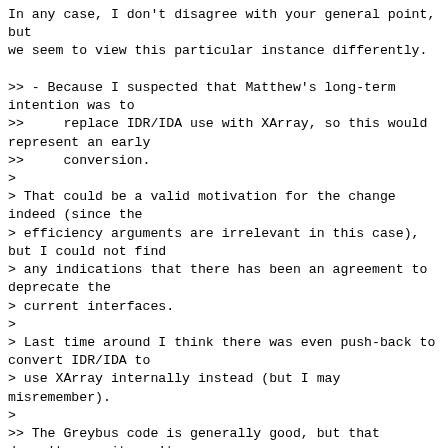In any case, I don't disagree with your general point, but
we seem to view this particular instance differently.

>> - Because I suspected that Matthew's long-term intention was to
>>     replace IDR/IDA use with XArray, so this would represent an early
>>     conversion.
>
> That could be a valid motivation for the change indeed (since the
> efficiency arguments are irrelevant in this case), but I could not find
> any indications that there has been an agreement to deprecate the
> current interfaces.
>
> Last time around I think there was even push-back to convert IDR/IDA to
> use XArray internally instead (but I may misremember).
>
>> The Greybus code is generally good, but that doesn't mean it can't
>> evolve.  It gets very little patch traffic, so I don't consider small
>> changes like this "useless churn."  The Greybus code is held up as an
>> example of Linux kernel code that can be safely